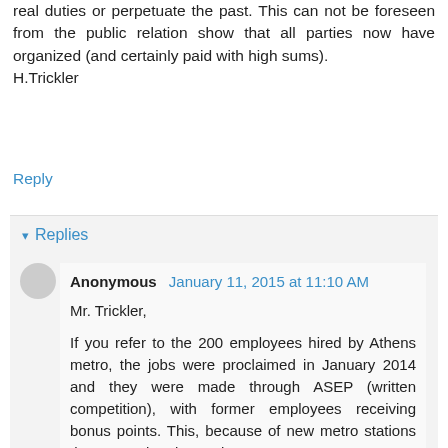real duties or perpetuate the past. This can not be foreseen from the public relation show that all parties now have organized (and certainly paid with high sums).
H.Trickler
Reply
Replies
Anonymous  January 11, 2015 at 11:10 AM
Mr. Trickler,
If you refer to the 200 employees hired by Athens metro, the jobs were proclaimed in January 2014 and they were made through ASEP (written competition), with former employees receiving bonus points. This, because of new metro stations that opened and 17 trains to manage.
http://www.enikos.gr/economy/207570%2CProslhyeis_sto_Metro_mesw_ASEP.html